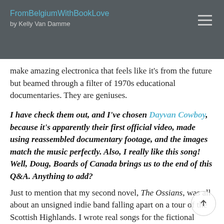FromBelgiumWithBookLove by Kelly Van Damme
make amazing electronica that feels like it's from the future but beamed through a filter of 1970s educational documentaries. They are geniuses.
I have check them out, and I've chosen Dayvan Cowboy, because it's apparently their first official video, made using reassembled documentary footage, and the images match the music perfectly. Also, I really like this song! Well, Doug, Boards of Canada brings us to the end of this Q&A. Anything to add?
Just to mention that my second novel, The Ossians, was all about an unsigned indie band falling apart on a tour of the Scottish Highlands. I wrote real songs for the fictional band, then recorded them with my real band at the time, and we got better